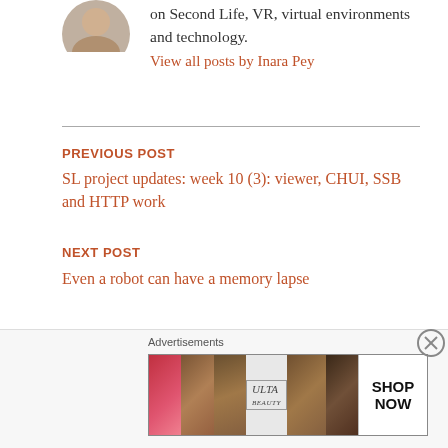[Figure (photo): Circular avatar/profile photo of Inara Pey, partially visible at top]
on Second Life, VR, virtual environments and technology.
View all posts by Inara Pey
PREVIOUS POST
SL project updates: week 10 (3): viewer, CHUI, SSB and HTTP work
NEXT POST
Even a robot can have a memory lapse
5 THOUGHTS ON “LUMIYA:
Advertisements
[Figure (photo): Ulta Beauty advertisement banner showing makeup/beauty product images with SHOP NOW call to action]